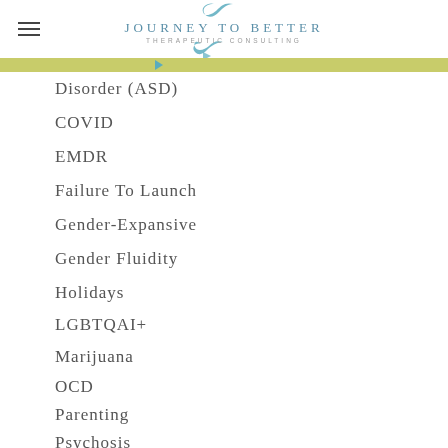Journey to Better Therapeutic Consulting
Disorder (ASD)
COVID
EMDR
Failure To Launch
Gender-Expansive
Gender Fluidity
Holidays
LGBTQAI+
Marijuana
OCD
Parenting
Psychosis
Substance Abuse
Teens